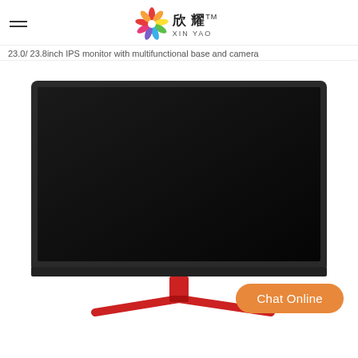XIN YAO (with logo)
23.0/ 23.8inch IPS monitor with multifunctional base and camera
[Figure (photo): Product photo of a black IPS monitor with red tripod stand on a white background. An orange rounded 'Chat Online' button appears at the bottom right of the image.]